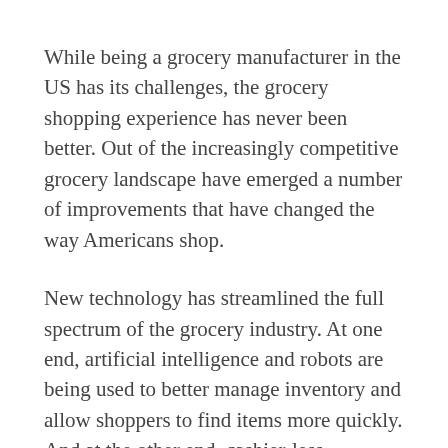While being a grocery manufacturer in the US has its challenges, the grocery shopping experience has never been better. Out of the increasingly competitive grocery landscape have emerged a number of improvements that have changed the way Americans shop.
New technology has streamlined the full spectrum of the grocery industry. At one end, artificial intelligence and robots are being used to better manage inventory and allow shoppers to find items more quickly. And at the other end, cashier-less checkout a la Amazon Go and rapidly expanding grocery delivery services have both expedited and